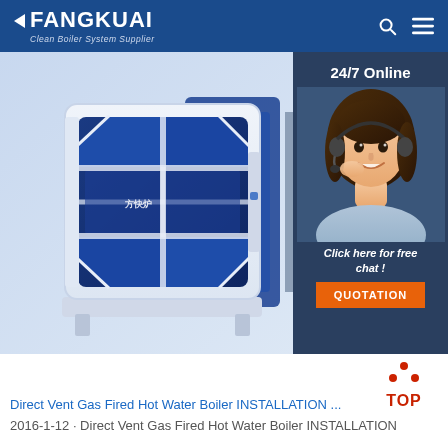FANGKUAI — Clean Boiler System Supplier
[Figure (photo): Blue and white industrial gas fired hot water boiler unit rendered in 3D, shown at an angle with piping visible on the right side. On the right side there is a customer service agent photo with text overlay: '24/7 Online', 'Click here for free chat!', and an orange 'QUOTATION' button on a dark blue background overlay.]
Direct Vent Gas Fired Hot Water Boiler INSTALLATION ...
2016-1-12 · Direct Vent Gas Fired Hot Water Boiler INSTALLATION